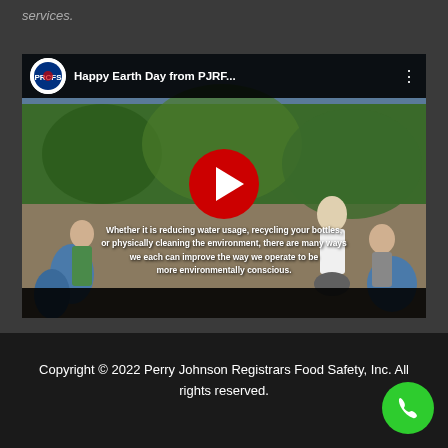services.
[Figure (screenshot): YouTube video embed titled 'Happy Earth Day from PJRF...' showing people cleaning up a riverbank environment. A red YouTube play button is centered on the video. Overlay text reads: 'Whether it is reducing water usage, recycling your bottles, or physically cleaning the environment, there are many ways we each can improve the way we operate to be more environmentally conscious']
Copyright © 2022 Perry Johnson Registrars Food Safety, Inc. All rights reserved.